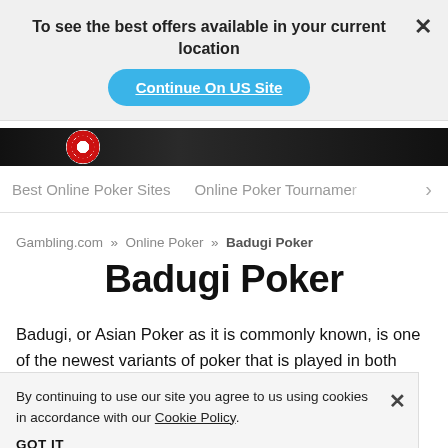To see the best offers available in your current location
Continue On US Site
Best Online Poker Sites   Online Poker Tournaments >
Gambling.com » Online Poker » Badugi Poker
Badugi Poker
Badugi, or Asian Poker as it is commonly known, is one of the newest variants of poker that is played in both o... Hold'em Poker a... poker game where th... hand or Badugi.
By continuing to use our site you agree to us using cookies in accordance with our Cookie Policy.
GOT IT
Here, Badugi refers to a hand of different cards from